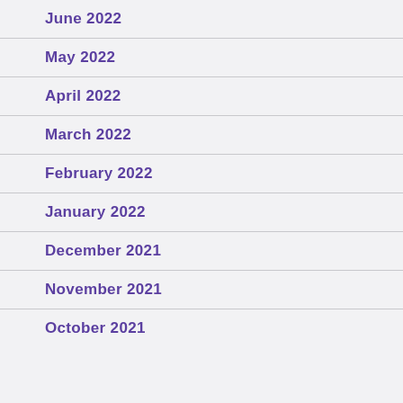June 2022
May 2022
April 2022
March 2022
February 2022
January 2022
December 2021
November 2021
October 2021